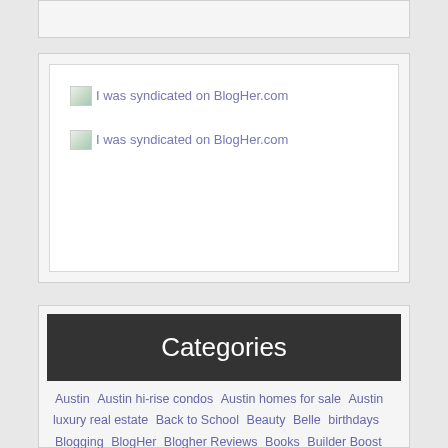[Figure (other): Partial top widget box (cut off at top of page)]
[Figure (other): BlogHer syndication widget with two broken image links reading 'I was syndicated on BlogHer.com']
Categories
Austin  Austin hi-rise condos  Austin homes for sale  Austin luxury real estate  Back to School  Beauty  Belle  birthdays  Blogging  BlogHer  Blogher Reviews  Books  Builder Boost  Buying a Home  Call me daughter  Call me Grandma BiBi  Call me mom  Celebrations  Contests  Critters  Deepwater  Enjoying Austin  Every